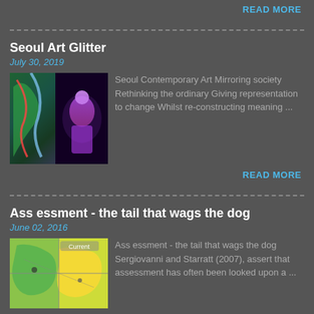READ MORE
Seoul Art Glitter
July 30, 2019
[Figure (photo): A colorful artistic photograph showing a figure illuminated in purple/violet light against a dark background with colorful abstract patterns]
Seoul Contemporary Art Mirroring society Rethinking the ordinary Giving representation to change Whilst re-constructing meaning ...
READ MORE
Ass essment - the tail that wags the dog
June 02, 2016
[Figure (map): A map showing regions with green and yellow/gold colored areas with text labels]
Ass essment - the tail that wags the dog Sergiovanni and Starratt (2007), assert that assessment has often been looked upon a ...